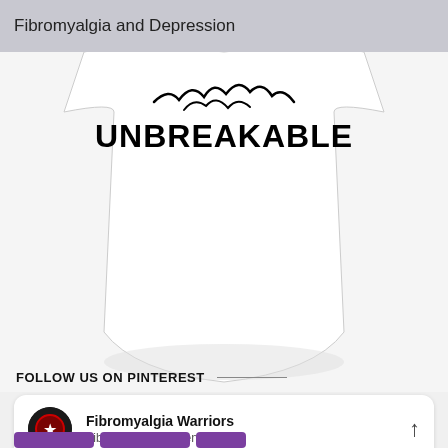Fibromyalgia and Depression
[Figure (photo): Photo of a white t-shirt with the word UNBREAKABLE printed in bold black letters, with a decorative design above it. The shirt is shown cropped, displaying mainly the lower front portion.]
FOLLOW US ON PINTEREST
[Figure (logo): Fibromyalgia Warriors Pinterest account card with circular logo (dark background with warrior figure), account name 'Fibromyalgia Warriors', subtext 'Fibromyalgia Awareness', and an upward arrow icon on the right. Below are partially visible purple action buttons.]